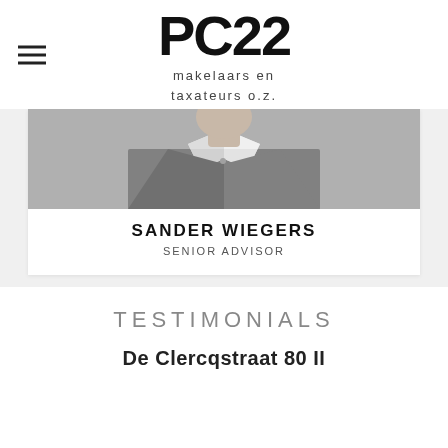[Figure (logo): PC22 makelaars en taxateurs o.z. logo with hamburger menu icon on the left]
[Figure (photo): Grayscale photo of a person in a white shirt, likely a professional headshot of Sander Wiegers]
SANDER WIEGERS
SENIOR ADVISOR
TESTIMONIALS
De Clercqstraat 80 II